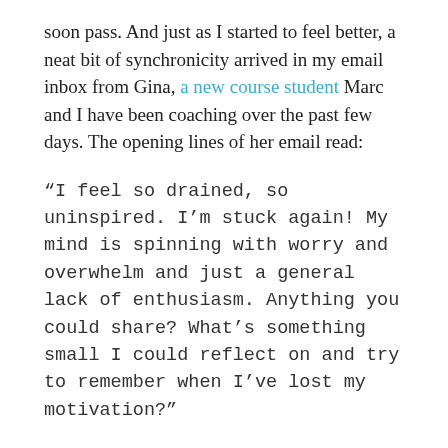soon pass. And just as I started to feel better, a neat bit of synchronicity arrived in my email inbox from Gina, a new course student Marc and I have been coaching over the past few days. The opening lines of her email read:
“I feel so drained, so uninspired. I’m stuck again! My mind is spinning with worry and overwhelm and just a general lack of enthusiasm. Anything you could share? What’s something small I could reflect on and try to remember when I’ve lost my motivation?”
With our student’s permission, I’m answering her inquiry publicly because I